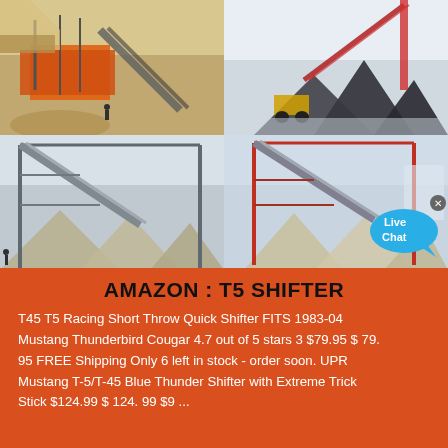[Figure (photo): Four-panel photo grid showing industrial mining/quarry conveyor belt and aggregate processing equipment. Top-left: orange equipment with conveyor belt at quarry site. Top-right: dark aggregate piles with crane conveyor in winter. Bottom-left: conveyor structure over aggregate piles. Bottom-right: conveyor gantry over gravel piles with Live Chat bubble overlay.]
AMAZON : T5 SHIFTER
T45 T5 Racing Short Throw Quick Shifter FITS 1983-04 Mustang Thunderbird Cougar 4.7 out of 5 stars 3 $79.95 $ 79. 95 FREE Shipping Only 6 left in stock - order soon. UPR Mustang T-5/T-45 Blue Thunder Shifter with Extreme Trick Stick $124.99 $ 124. 99 $9 ...